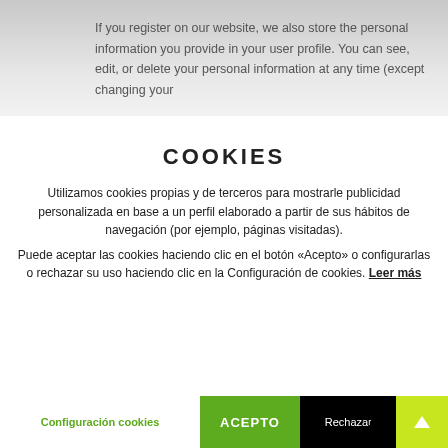If you register on our website, we also store the personal information you provide in your user profile. You can see, edit, or delete your personal information at any time (except changing your
COOKIES
Utilizamos cookies propias y de terceros para mostrarle publicidad personalizada en base a un perfil elaborado a partir de sus hábitos de navegación (por ejemplo, páginas visitadas). Puede aceptar las cookies haciendo clic en el botón «Acepto» o configurarlas o rechazar su uso haciendo clic en la Configuración de cookies. Leer más
Configuración cookies | ACEPTO | Rechazar